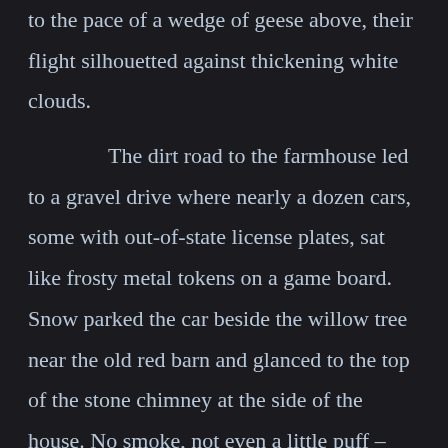to the pace of a wedge of geese above, their flight silhouetted against thickening white clouds.

The dirt road to the farmhouse led to a gravel drive where nearly a dozen cars, some with out-of-state license plates, sat like frosty metal tokens on a game board. Snow parked the car beside the willow tree near the old red barn and glanced to the top of the stone chimney at the side of the house. No smoke, not even a little puff – occupants had all gone to bed many hours earlier, Tall Ones tucking in Tiny Ones with stories, goodnight kisses and prayers. Snow imagined the excitement of the children. They probably stayed up as late as the adults, chattering about Santa and